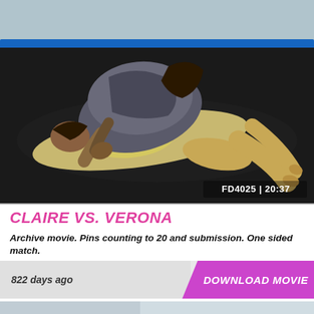[Figure (photo): Two female wrestlers grappling on a dark mat inside a wrestling ring with blue padding on the walls. One wrestler in a silver/gray outfit is on top, the other in a yellow outfit is underneath. Video ID overlay reads FD4025 | 20:37.]
CLAIRE VS. VERONA
Archive movie. Pins counting to 20 and submission. One sided match.
822 days ago
DOWNLOAD MOVIE
[Figure (photo): Partial view of another wrestling match thumbnail at the bottom of the page.]